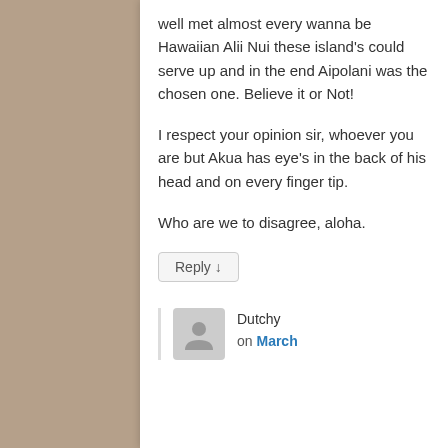well met almost every wanna be Hawaiian Alii Nui these island's could serve up and in the end Aipolani was the chosen one. Believe it or Not!
I respect your opinion sir, whoever you are but Akua has eye's in the back of his head and on every finger tip.
Who are we to disagree, aloha.
Reply ↓
Dutchy on March
[Figure (illustration): User avatar placeholder icon showing a silhouette of a person]